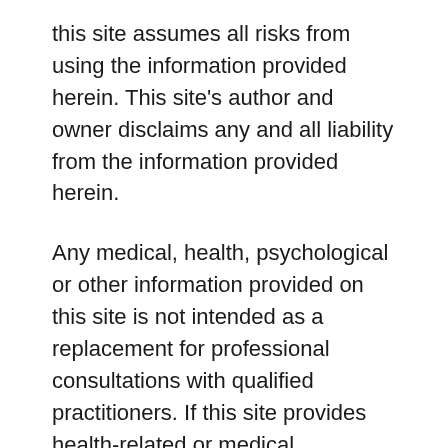this site assumes all risks from using the information provided herein. This site's author and owner disclaims any and all liability from the information provided herein.
Any medical, health, psychological or other information provided on this site is not intended as a replacement for professional consultations with qualified practitioners. If this site provides health-related or medical information, no such information provided by this site is intended to treat or cure any disease or to offer any specific diagnosis to any individual. It is important to note that